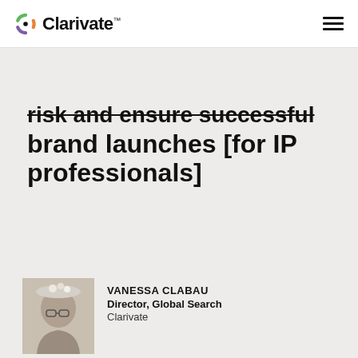Clarivate™
brand launches [for IP professionals]
[Figure (photo): Portrait photo of Vanessa Clabau, partially visible at bottom left]
VANESSA CLABAU
Director, Global Search
Clarivate